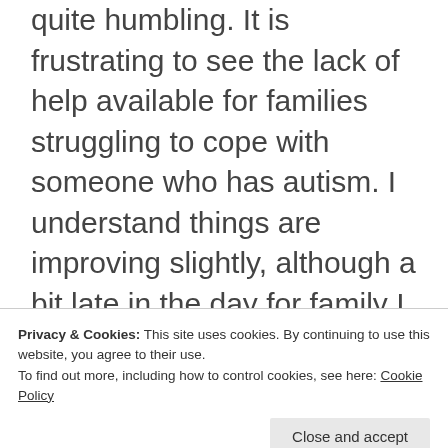The back story to this is really quite humbling. It is frustrating to see the lack of help available for families struggling to cope with someone who has autism. I understand things are improving slightly, although a bit late in the day for family I mentioned.
Hope you have a lovely
Privacy & Cookies: This site uses cookies. By continuing to use this website, you agree to their use.
To find out more, including how to control cookies, see here: Cookie Policy
Like